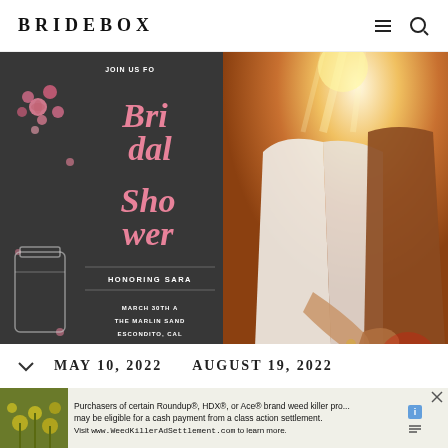BRIDEBOX
[Figure (photo): Bridal shower invitation card on dark background with pink floral decorations, mason jar illustration, and pink script text reading 'Bridal Shower'. Text includes 'JOIN US FOR', 'HONORING SARA', 'MARCH 30TH A... THE MARLIN SAND... ESCONDITO, CAL...', 'RSVP SARAROBERTSO...', 'SARAH IS REGISTERED']
[Figure (photo): Close-up photo of a couple holding hands at a wedding, warm golden sunburst light in the background, bride in white dress and groom in brown/rust suit]
MAY 10, 2022
AUGUST 19, 2022
[Figure (photo): Yellow flowering plant/foliage photo used as advertisement background image]
Purchasers of certain Roundup®, HDX®, or Ace® brand weed killer pro... may be eligible for a cash payment from a class action settlement. Visit www.WeedKillerAdSettlement.com to learn more.